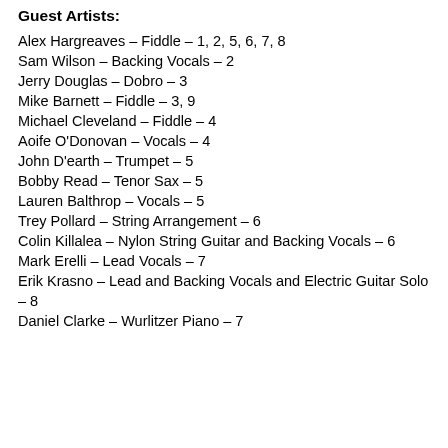Guest Artists:
Alex Hargreaves – Fiddle – 1, 2, 5, 6, 7, 8
Sam Wilson – Backing Vocals – 2
Jerry Douglas – Dobro – 3
Mike Barnett – Fiddle – 3, 9
Michael Cleveland – Fiddle – 4
Aoife O'Donovan – Vocals – 4
John D'earth – Trumpet – 5
Bobby Read – Tenor Sax – 5
Lauren Balthrop – Vocals – 5
Trey Pollard – String Arrangement – 6
Colin Killalea – Nylon String Guitar and Backing Vocals – 6
Mark Erelli – Lead Vocals – 7
Erik Krasno – Lead and Backing Vocals and Electric Guitar Solo – 8
Daniel Clarke – Wurlitzer Piano – 7